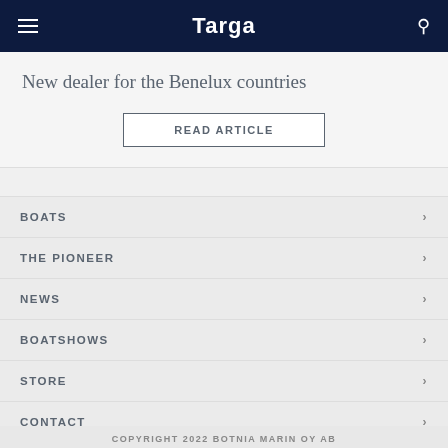Targa
New dealer for the Benelux countries
READ ARTICLE
BOATS
THE PIONEER
NEWS
BOATSHOWS
STORE
CONTACT
COPYRIGHT 2022 BOTNIA MARIN OY AB